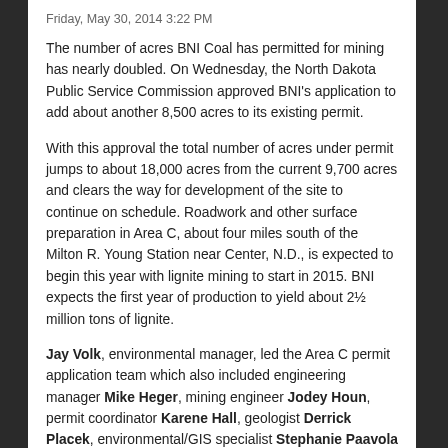Friday, May 30, 2014 3:22 PM
The number of acres BNI Coal has permitted for mining has nearly doubled. On Wednesday, the North Dakota Public Service Commission approved BNI's application to add about another 8,500 acres to its existing permit.
With this approval the total number of acres under permit jumps to about 18,000 acres from the current 9,700 acres and clears the way for development of the site to continue on schedule. Roadwork and other surface preparation in Area C, about four miles south of the Milton R. Young Station near Center, N.D., is expected to begin this year with lignite mining to start in 2015. BNI expects the first year of production to yield about 2½ million tons of lignite.
Jay Volk, environmental manager, led the Area C permit application team which also included engineering manager Mike Heger, mining engineer Jodey Houn, permit coordinator Karene Hall, geologist Derrick Placek, environmental/GIS specialist Stephanie Paavola and mining engineer Jon Rudnick.
“I am very pleased not only with the successful outcome but